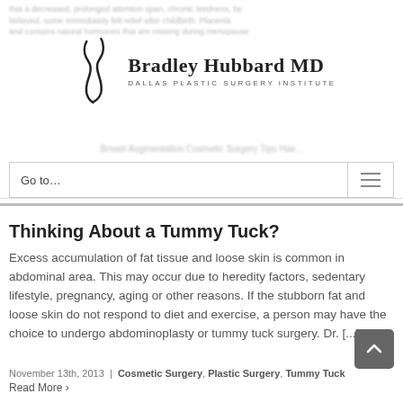Bradley Hubbard MD — Dallas Plastic Surgery Institute
Go to...
Thinking About a Tummy Tuck?
Excess accumulation of fat tissue and loose skin is common in abdominal area. This may occur due to heredity factors, sedentary lifestyle, pregnancy, aging or other reasons. If the stubborn fat and loose skin do not respond to diet and exercise, a person may have the choice to undergo abdominoplasty or tummy tuck surgery. Dr. [...]
November 13th, 2013 | Cosmetic Surgery, Plastic Surgery, Tummy Tuck
Read More >